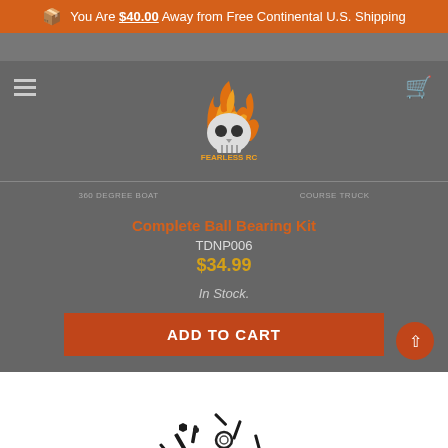You Are $40.00 Away from Free Continental U.S. Shipping
[Figure (logo): Fearless RC logo with flaming skull and orange text]
360 DEGREE BOAT    COURSE TRUCK
Complete Ball Bearing Kit
TDNP006
$34.99
In Stock.
ADD TO CART
[Figure (photo): Collection of black ball bearings, screws, and small RC car parts scattered on white background]